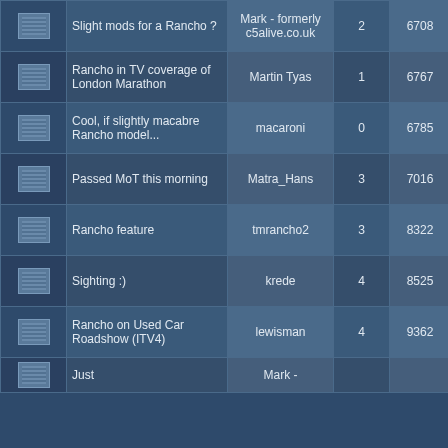|  | Topic | Author | Replies | Views | Last Post |
| --- | --- | --- | --- | --- | --- |
| [icon] | Slight mods for a Rancho ? | Mark - formerly c5alive.co.uk | 2 | 6708 | February 01, 2008, 08:13:07 pm by lewisman |
| [icon] | Rancho in TV coverage of London Marathon | Martin Tyas | 1 | 6767 | April 13, 2008, 07:07:25 pm by tmrancho2 |
| [icon] | Cool, if slightly macabre Rancho model... | macaroni | 0 | 6785 | September 19, 2007, 09:34:00 am by macaroni |
| [icon] | Passed MoT this morning | Matra_Hans | 3 | 7016 | September 20, 2008, 09:16:02 am by tmrancho2 |
| [icon] | Rancho feature | tmrancho2 | 3 | 8322 | January 20, 2007, 12:31:58 pm by tmrancho2 |
| [icon] | Sighting :) | krede | 4 | 8525 | December 29, 2007, 10:33:04 am by michaltalbot |
| [icon] | Rancho on Used Car Roadshow (ITV4) | lewisman | 4 | 9362 | November 20, 2007, 02:27:09 pm by Ralph2 |
| [icon] | Just | Mark - |  |  | February 01, 2008, |